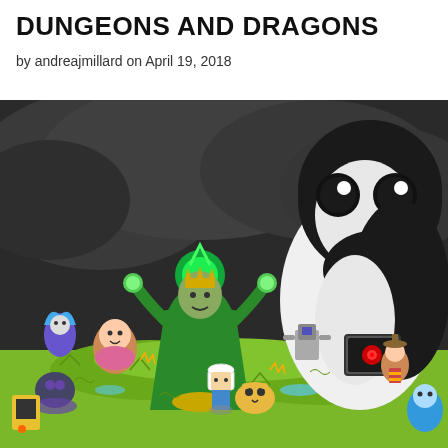DUNGEONS AND DRAGONS
by andreajmillard on April 19, 2018
[Figure (illustration): Adventure Time themed illustration showing cartoon characters including Finn, Jake (as a large penguin-like creature looming in the background), and various villains and characters engaged in a dungeon battle on a green field with dark smoky sky. The scene features a large penguin character (Gunter) in the upper right, a green-robed wizard villain in the center surrounded by chaos, and multiple Adventure Time characters scattered across the scene.]